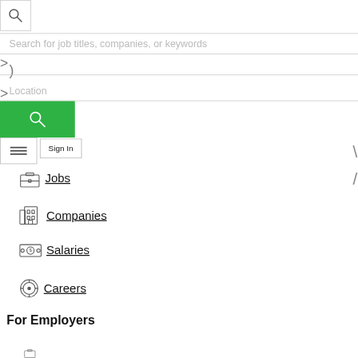[Figure (screenshot): Job search website UI showing a search icon box in the top left, a text input field with placeholder 'Search for job titles, companies, or keywords', a location input with placeholder 'Location', a green search button with magnifying glass icon, a hamburger menu button, a Sign In button, navigation links for Jobs (briefcase icon), Companies (building icon), Salaries (cash icon), Careers (compass icon), For Employers (bold), and a partially visible icon at the bottom.]